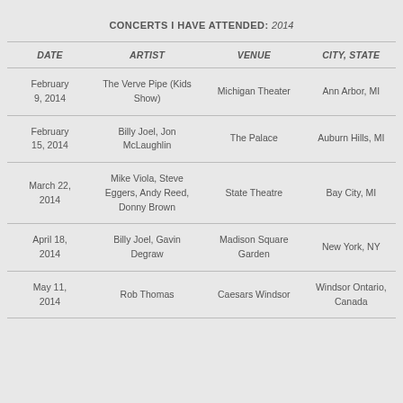CONCERTS I HAVE ATTENDED: 2014
| DATE | ARTIST | VENUE | CITY, STATE |
| --- | --- | --- | --- |
| February 9, 2014 | The Verve Pipe (Kids Show) | Michigan Theater | Ann Arbor, MI |
| February 15, 2014 | Billy Joel, Jon McLaughlin | The Palace | Auburn Hills, MI |
| March 22, 2014 | Mike Viola, Steve Eggers, Andy Reed, Donny Brown | State Theatre | Bay City, MI |
| April 18, 2014 | Billy Joel, Gavin Degraw | Madison Square Garden | New York, NY |
| May 11, 2014 | Rob Thomas | Caesars Windsor | Windsor Ontario, Canada |